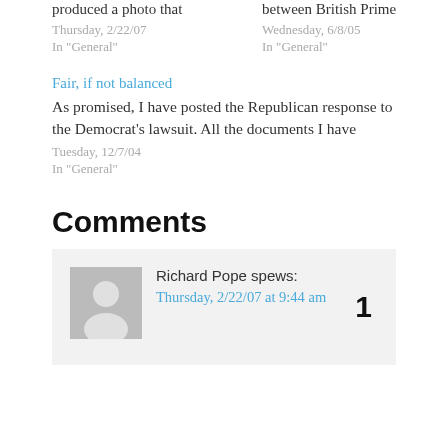produced a photo that
Thursday, 2/22/07
In "General"
between British Prime
Wednesday, 6/8/05
In "General"
Fair, if not balanced
As promised, I have posted the Republican response to the Democrat's lawsuit. All the documents I have
Tuesday, 12/7/04
In "General"
Comments
Richard Pope spews:
Thursday, 2/22/07 at 9:44 am
1